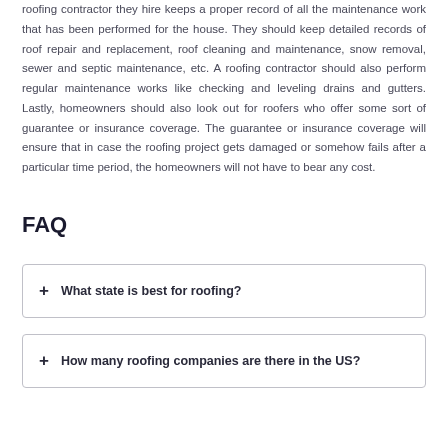roofing contractor they hire keeps a proper record of all the maintenance work that has been performed for the house. They should keep detailed records of roof repair and replacement, roof cleaning and maintenance, snow removal, sewer and septic maintenance, etc. A roofing contractor should also perform regular maintenance works like checking and leveling drains and gutters. Lastly, homeowners should also look out for roofers who offer some sort of guarantee or insurance coverage. The guarantee or insurance coverage will ensure that in case the roofing project gets damaged or somehow fails after a particular time period, the homeowners will not have to bear any cost.
FAQ
+ What state is best for roofing?
+ How many roofing companies are there in the US?